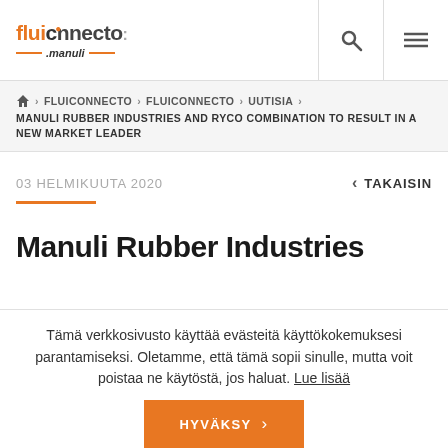fluiconnecto by manuli — logo, search icon, menu icon
FLUICONNECTO > FLUICONNECTO > UUTISIA > MANULI RUBBER INDUSTRIES AND RYCO COMBINATION TO RESULT IN A NEW MARKET LEADER
03 HELMIKUUTA 2020
< TAKAISIN
Manuli Rubber Industries
Tämä verkkosivusto käyttää evästeitä käyttökokemuksesi parantamiseksi. Oletamme, että tämä sopii sinulle, mutta voit poistaa ne käytöstä, jos haluat. Lue lisää
HYVÄKSY